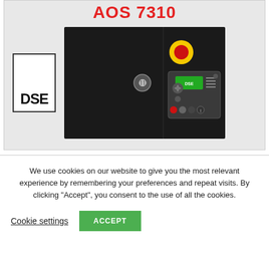AOS 7310
[Figure (photo): DSE logo on left (white box with DSE text) and product control panel image on right showing a dark enclosure with a yellow-ringed red emergency stop button and a green display module with controls and buttons.]
We use cookies on our website to give you the most relevant experience by remembering your preferences and repeat visits. By clicking "Accept", you consent to the use of all the cookies.
Cookie settings | ACCEPT